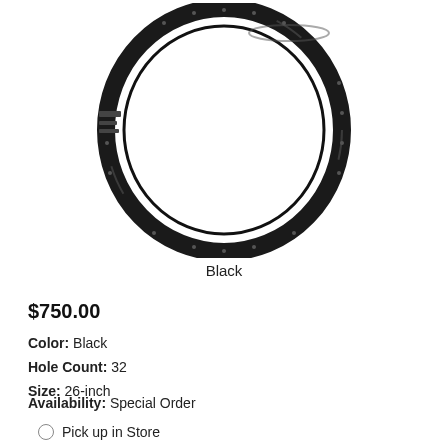[Figure (photo): A black bicycle wheel rim (26-inch, 32-hole) shown against a white background. The rim is a dark anodized aluminum ring with spoke holes visible around the circumference and a valve/joint area visible on the left side.]
Black
$750.00
Color:  Black
Hole Count:  32
Size:  26-inch
Availability:  Special Order
Pick up in Store